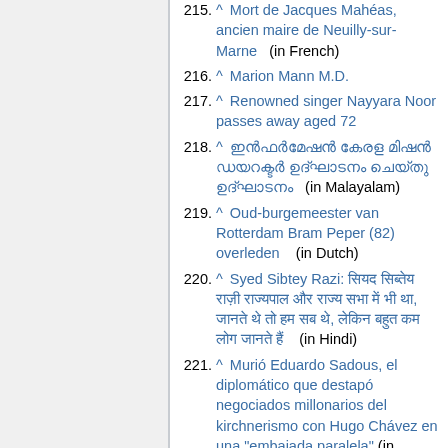215. ^ Mort de Jacques Mahéas, ancien maire de Neuilly-sur-Marne (in French)
216. ^ Marion Mann M.D.
217. ^ Renowned singer Nayyara Noor passes away aged 72
218. ^ [Malayalam text] (in Malayalam)
219. ^ Oud-burgemeester van Rotterdam Bram Peper (82) overleden (in Dutch)
220. ^ Syed Sibtey Razi: [Hindi text] (in Hindi)
221. ^ Murió Eduardo Sadous, el diplomático que destapó negociados millonarios del kirchnerismo con Hugo Chávez en una "embajada paralela" (in Spanish)
222. ^ Muere el magistrado Román Solis Zelaya a sus 68 años (in Spanish)
223. ^ Stanley Kubick collaborator and